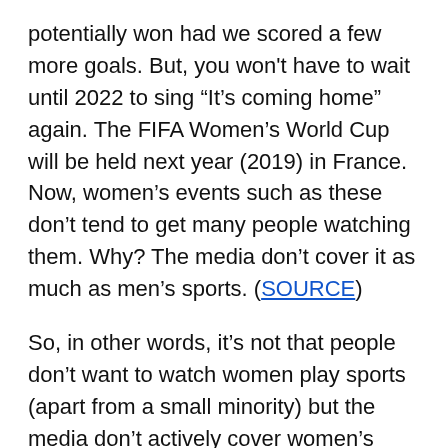potentially won had we scored a few more goals. But, you won't have to wait until 2022 to sing “It’s coming home” again. The FIFA Women’s World Cup will be held next year (2019) in France. Now, women’s events such as these don’t tend to get many people watching them. Why? The media don’t cover it as much as men’s sports. (SOURCE)
So, in other words, it’s not that people don’t want to watch women play sports (apart from a small minority) but the media don’t actively cover women’s sports as much as the World Cup that finished just 2 weeks ago.
And when women’s sports are on, they are rarely on the BBC or ITV but on expensive sports channels (Sky Sports, BT Sports) that